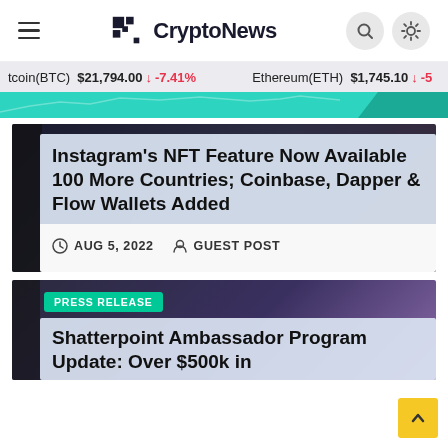CryptoNews
tcoin(BTC) $21,794.00 ↓ -7.41%   Ethereum(ETH) $1,745.10 ↓ -5
[Figure (screenshot): Teal/cyan chart strip showing price chart area]
Instagram's NFT Feature Now Available 100 More Countries; Coinbase, Dapper & Flow Wallets Added
AUG 5, 2022   GUEST POST
PRESS RELEASE
Shatterpoint Ambassador Program Update: Over $500k in